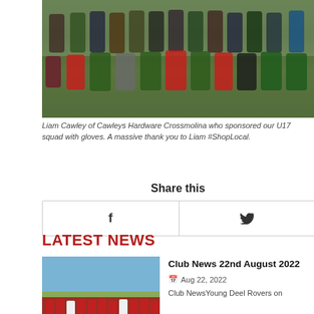[Figure (photo): Group photo of U17 GAA squad with Liam Cawley on a grass pitch, two rows of players in various jerseys]
Liam Cawley of Cawleys Hardware Crossmolina who sponsored our U17 squad with gloves. A massive thank you to Liam #ShopLocal.
Share this
f (Facebook share button)
🐦 (Twitter share button)
LATEST NEWS
[Figure (photo): Group photo of Deel Rovers GAA team in red jerseys in front of crowd, outdoors with blue sky]
Club News 22nd August 2022
Aug 22, 2022
Club NewsYoung Deel Rovers on